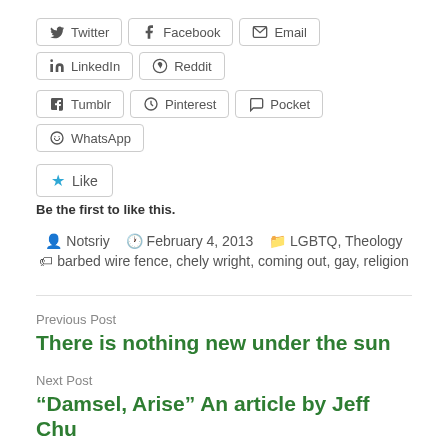[Figure (other): Social share buttons row 1: Twitter, Facebook, Email, LinkedIn, Reddit]
[Figure (other): Social share buttons row 2: Tumblr, Pinterest, Pocket, WhatsApp]
[Figure (other): Like button]
Be the first to like this.
Notsriy   February 4, 2013   LGBTQ, Theology
barbed wire fence, chely wright, coming out, gay, religion
Previous Post
There is nothing new under the sun
Next Post
“Damsel, Arise” An article by Jeff Chu